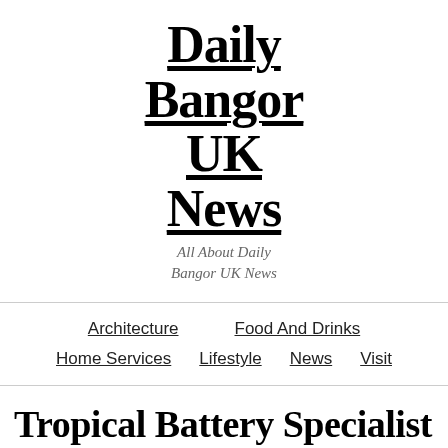Daily Bangor UK News
All About Daily Bangor UK News
Architecture
Food And Drinks
Home Services
Lifestyle
News
Visit
Tropical Battery Specialist